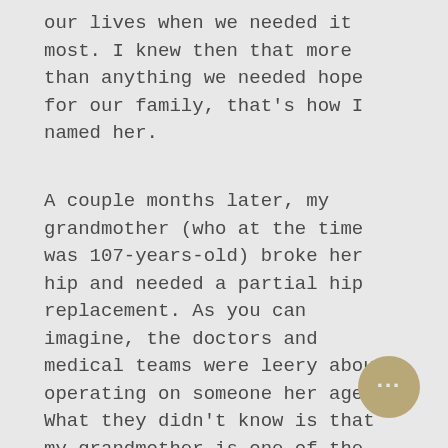our lives when we needed it most. I knew then that more than anything we needed hope for our family, that's how I named her.
A couple months later, my grandmother (who at the time was 107-years-old) broke her hip and needed a partial hip replacement. As you can imagine, the doctors and medical teams were leery about operating on someone her age. What they didn't know is that my grandmother is one of the most determined people you will ever meet! Thankfully, she came through the surgery healthy and thanks to the love and attention of my mother; my grandmother healed and was back on the move within weeks.